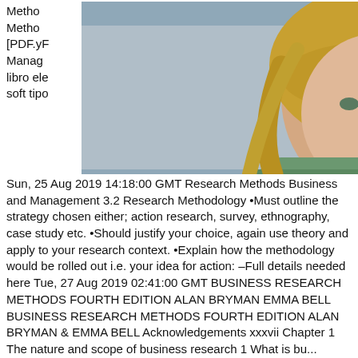[Figure (photo): Portrait photo of a young blonde woman standing near a train or tram, wearing a green/teal turtleneck sweater, with bokeh background of transit vehicle.]
Sun, 25 Aug 2019 14:18:00 GMT Research Methods Business and Management 3.2 Research Methodology •Must outline the strategy chosen either; action research, survey, ethnography, case study etc. •Should justify your choice, again use theory and apply to your research context. •Explain how the methodology would be rolled out i.e. your idea for action: –Full details needed here Tue, 27 Aug 2019 02:41:00 GMT BUSINESS RESEARCH METHODS FOURTH EDITION ALAN BRYMAN EMMA BELL BUSINESS RESEARCH METHODS FOURTH EDITION ALAN BRYMAN & EMMA BELL Acknowledgements xxxvii Chapter 1 The nature and scope of business research 1 What is business research? 1 bu...